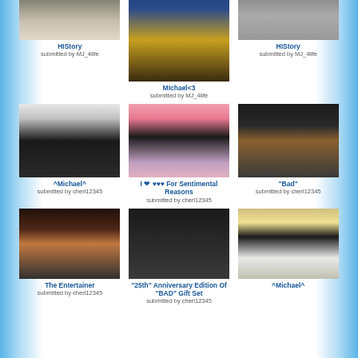[Figure (photo): Michael Jackson performing on stage in military-style outfit, partial top view]
HIStory
submitted by MJ_4life
[Figure (photo): Michael Jackson close-up in gold/brown costume]
MIchael<3
submitted by MJ_4life
[Figure (photo): Black and white photo of Michael Jackson in iconic stance]
HIStory
submitted by MJ_4life
[Figure (photo): Michael Jackson black and white portrait with arms crossed]
^Michael^
submitted by cherl12345
[Figure (photo): Michael Jackson side profile in sparkly jacket]
I ♥ ♥♥♥ For Sentimental Reasons
submitted by cherl12345
[Figure (photo): Michael Jackson in black leather jacket with studded belt]
"Bad"
submitted by cherl12345
[Figure (photo): Michael Jackson singing into microphone, close-up]
The Entertainer
submitted by cherl12345
[Figure (photo): BAD 25 Michael Jackson anniversary edition gift set box]
"25th" Anniversary Edition Of "BAD" Gift Set
submitted by cherl12345
[Figure (photo): Michael Jackson in black hat and white shirt walking]
^Michael^